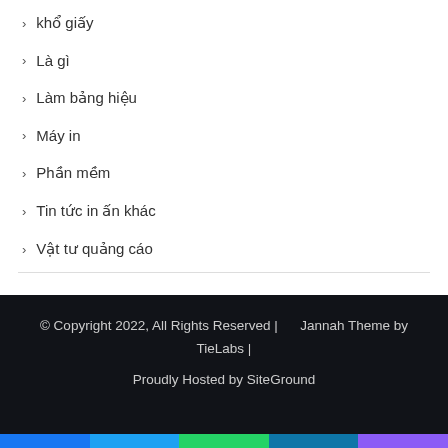khổ giấy
Là gì
Làm bảng hiệu
Máy in
Phần mềm
Tin tức in ấn khác
Vật tư quảng cáo
© Copyright 2022, All Rights Reserved  |      Jannah Theme by TieLabs |  Proudly Hosted by SiteGround